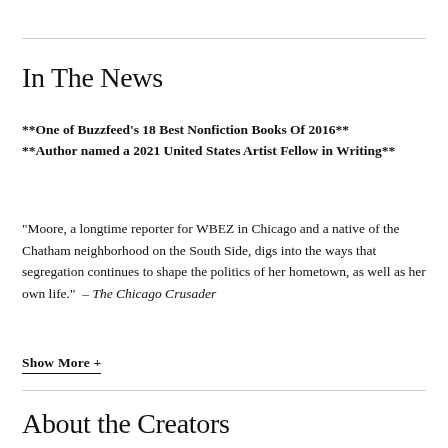In The News
**One of Buzzfeed's 18 Best Nonfiction Books Of 2016** **Author named a 2021 United States Artist Fellow in Writing**
"Moore, a longtime reporter for WBEZ in Chicago and a native of the Chatham neighborhood on the South Side, digs into the ways that segregation continues to shape the politics of her hometown, as well as her own life." – The Chicago Crusader
Show More +
About the Creators